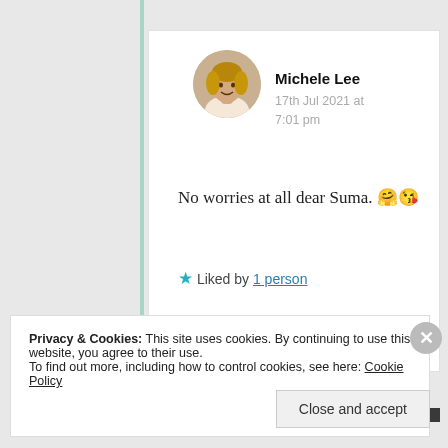Michele Lee
17th Jul 2021 at 7:01 pm
No worries at all dear Suma. 🤗😘
★ Liked by 1 person
Privacy & Cookies: This site uses cookies. By continuing to use this website, you agree to their use.
To find out more, including how to control cookies, see here: Cookie Policy
Close and accept